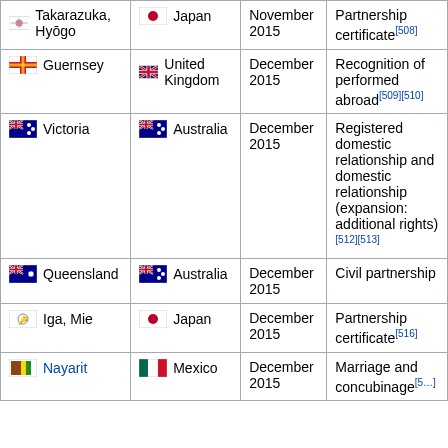| Place | Country | Date | Type |
| --- | --- | --- | --- |
| Takarazuka, Hyōgo | Japan | November 2015 | Partnership certificate[508] |
| Guernsey | United Kingdom | December 2015 | Recognition of performed abroad[509][510] |
| Victoria | Australia | December 2015 | Registered domestic relationship and domestic relationship (expansion: additional rights)[512][513] |
| Queensland | Australia | December 2015 | Civil partnership |
| Iga, Mie | Japan | December 2015 | Partnership certificate[516] |
| Nayarit | Mexico | December 2015 | Marriage and concubinage[5...] |